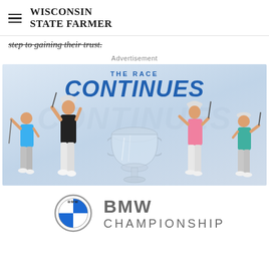WISCONSIN STATE FARMER
step to gaining their trust.
Advertisement
[Figure (photo): BMW Championship advertisement showing four golfers mid-swing around a large trophy with text 'THE RACE CONTINUES']
[Figure (logo): BMW circular logo (blue and white quadrant circle)]
BMW CHAMPIONSHIP